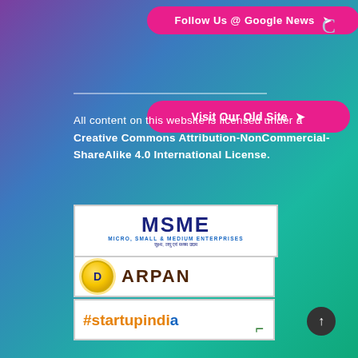[Figure (other): Pink rounded button: 'Follow Us @ Google News' with arrow icon]
[Figure (other): Pink rounded button: 'Visit Our Old Site' with arrow icon]
All content on this website is licensed under a Creative Commons Attribution-NonCommercial-ShareAlike 4.0 International License.
[Figure (logo): MSME logo - Micro, Small & Medium Enterprises with Hindi text]
[Figure (logo): DARPAN logo - gold circle with D and ARPAN text]
[Figure (logo): #startupindia logo with green element]